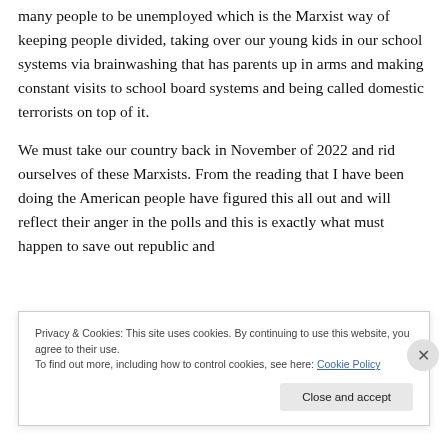many people to be unemployed which is the Marxist way of keeping people divided, taking over our young kids in our school systems via brainwashing that has parents up in arms and making constant visits to school board systems and being called domestic terrorists on top of it.
We must take our country back in November of 2022 and rid ourselves of these Marxists. From the reading that I have been doing the American people have figured this all out and will reflect their anger in the polls and this is exactly what must happen to save out republic and
Privacy & Cookies: This site uses cookies. By continuing to use this website, you agree to their use.
To find out more, including how to control cookies, see here: Cookie Policy
Close and accept